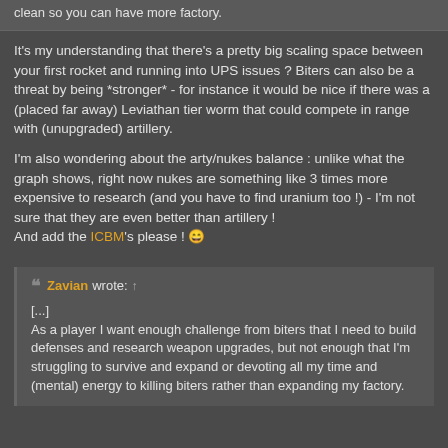clean so you can have more factory.
It's my understanding that there's a pretty big scaling space between your first rocket and running into UPS issues ? Biters can also be a threat by being *stronger* - for instance it would be nice if there was a (placed far away) Leviathan tier worm that could compete in range with (unupgraded) artillery.
I'm also wondering about the arty/nukes balance : unlike what the graph shows, right now nukes are something like 3 times more expensive to research (and you have to find uranium too !) - I'm not sure that they are even better than artillery !
And add the ICBM's please ! 😄
❝ Zavian wrote: ↑
[...]
As a player I want enough challenge from biters that I need to build defenses and research weapon upgrades, but not enough that I'm struggling to survive and expand or devoting all my time and (mental) energy to killing biters rather than expanding my factory.